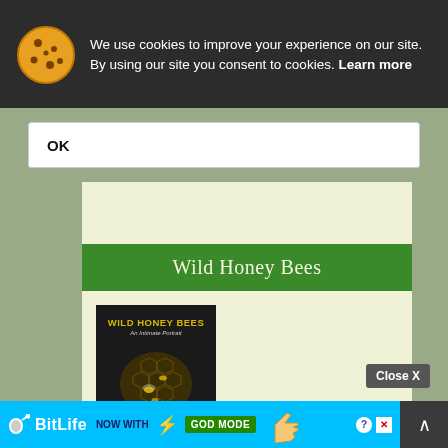We use cookies to improve your experience on our site. By using our site you consent to cookies. Learn more
OK
Wild Honey Bees
[Figure (photo): Book cover for 'Wild Honey Bees: An Intimate Portrait' showing yellow title text on black background with honeycomb and bee imagery]
Close X
[Figure (screenshot): BitLife advertisement banner: 'NOW WITH GOD MODE' on blue background with lightning bolt and hand pointing icon]